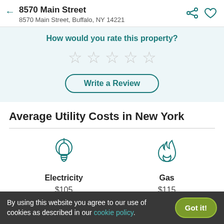8570 Main Street
8570 Main Street, Buffalo, NY 14221
How would you rate this property?
★★★★★ (empty stars)
Write a Review
Average Utility Costs in New York
[Figure (infographic): Light bulb icon representing electricity]
Electricity
$105
[Figure (infographic): Flame icon representing gas]
Gas
$115
By using this website you agree to our use of cookies as described in our cookie policy.